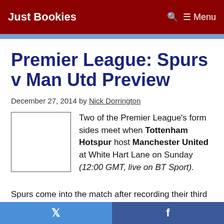Just Bookies  🔍 ☰ Menu
Premier League: Spurs v Man Utd Preview
December 27, 2014 by Nick Dorrington
Two of the Premier League's form sides meet when Tottenham Hotspur host Manchester United at White Hart Lane on Sunday (12:00 GMT, live on BT Sport).
Spurs come into the match after recording their third consecutive 2-1 victory, the latest